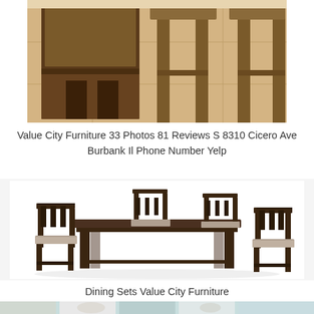[Figure (photo): Wooden bar stools and chairs on a beige tile floor, close-up product photo from a furniture store.]
Value City Furniture 33 Photos 81 Reviews S 8310 Cicero Ave Burbank Il Phone Number Yelp
[Figure (photo): Dark brown wood dining table set with four ladder-back chairs with beige upholstered seats, shown on white background.]
Dining Sets Value City Furniture
[Figure (photo): Bottom strip showing a partial view of a furniture showroom or catalog page with teal/mint colored accents.]